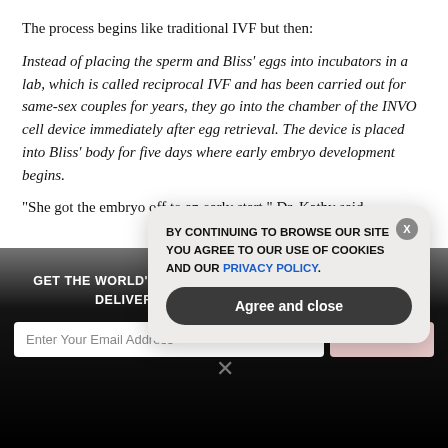The process begins like traditional IVF but then:
Instead of placing the sperm and Bliss' eggs into incubators in a lab, which is called reciprocal IVF and has been carried out for same-sex couples for years, they go into the chamber of the INVO cell device immediately after egg retrieval. The device is placed into Bliss' body for five days where early embryo development begins.
“She got the embryo off to an early start,” Dr. Kathy said
GET THE WORLD'S BEST NATURAL HEALTH NEWSLETTER DELIVERED STRAIGHT TO YOUR INBOX
Enter Your Email Address
SUBSCRIBE
BY CONTINUING TO BROWSE OUR SITE YOU AGREE TO OUR USE OF COOKIES AND OUR PRIVACY POLICY.
Agree and close